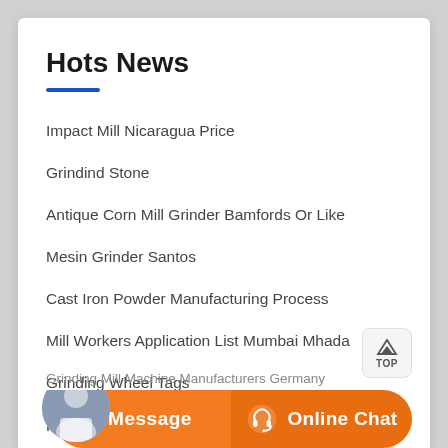Hots News
Impact Mill Nicaragua Price
Grindind Stone
Antique Corn Mill Grinder Bamfords Or Like
Mesin Grinder Santos
Cast Iron Powder Manufacturing Process
Mill Workers Application List Mumbai Mhada
Grinding Wheel Tags
Rolling Mill Supplies South Africa
Grinding Mill Machine Manufacturers Germany